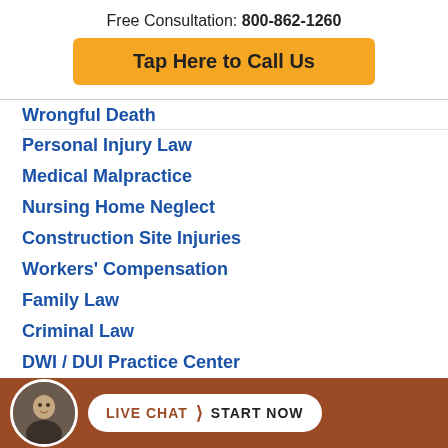Free Consultation: 800-862-1260
Tap Here to Call Us
Wrongful Death
Personal Injury Law
Medical Malpractice
Nursing Home Neglect
Construction Site Injuries
Workers' Compensation
Family Law
Criminal Law
DWI / DUI Practice Center
Hail Damage A...
LIVE CHAT > START NOW